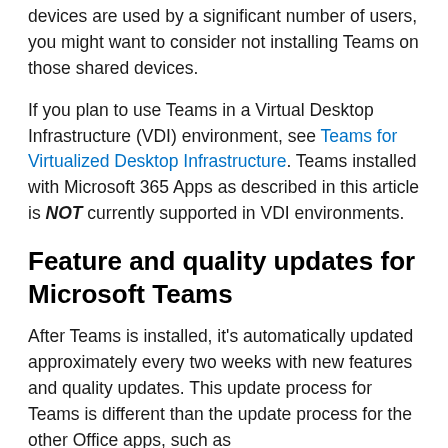shared devices installed with Teams. In cases where shared devices are used by a significant number of users, you might want to consider not installing Teams on those shared devices.
If you plan to use Teams in a Virtual Desktop Infrastructure (VDI) environment, see Teams for Virtualized Desktop Infrastructure. Teams installed with Microsoft 365 Apps as described in this article is NOT currently supported in VDI environments.
Feature and quality updates for Microsoft Teams
After Teams is installed, it's automatically updated approximately every two weeks with new features and quality updates. This update process for Teams is different than the update process for the other Office apps, such as